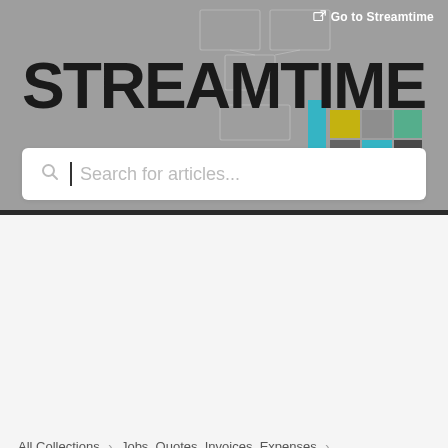[Figure (screenshot): Streamtime help center banner with logo, decorative geometric shapes in background, and a search bar for articles]
Go to Streamtime
STREAMTIME
Search for articles...
All Collections > Jobs, Quotes, Invoices, Expenses > Creating and Planning Jobs > Managing your accounting
Managing your accounting
How to set up and manage your accounts to get the most out of Streamtime